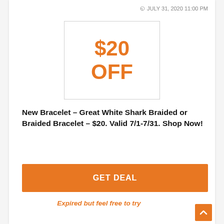JULY 31, 2020 11:00 PM
[Figure (other): Coupon box showing $20 OFF in orange text on white background with light border]
New Bracelet – Great White Shark Braided or Braided Bracelet – $20. Valid 7/1-7/31. Shop Now!
GET DEAL
Expired but feel free to try